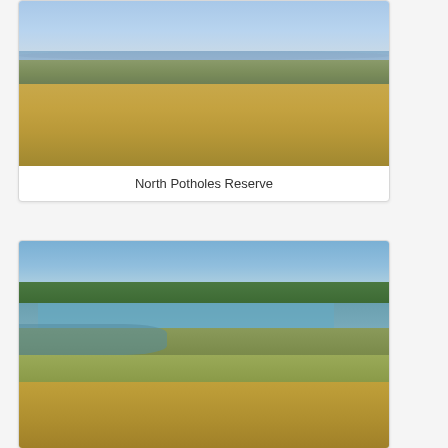[Figure (photo): Photograph of North Potholes Reserve showing a wide flat landscape with blue water visible in the background, sagebrush scrub in the middle distance, and dry tan grasses in the foreground under a partly cloudy sky.]
North Potholes Reserve
[Figure (photo): Photograph of a wetland or river area with a bright blue sky, green deciduous trees and shrubs along the far bank, calm water with aquatic vegetation visible beneath the surface, and tall green reeds and grasses in the foreground.]